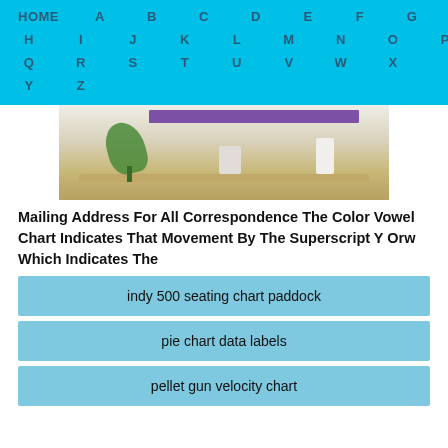HOME A B C D E F G H I J K L M N O P Q R S T U V W X Y Z
[Figure (photo): A desk with a hanging plant, pencil holder, laptop, and purple banner/sign on the wall above.]
Mailing Address For All Correspondence The Color Vowel Chart Indicates That Movement By The Superscript Y Orw Which Indicates The
indy 500 seating chart paddock
pie chart data labels
pellet gun velocity chart